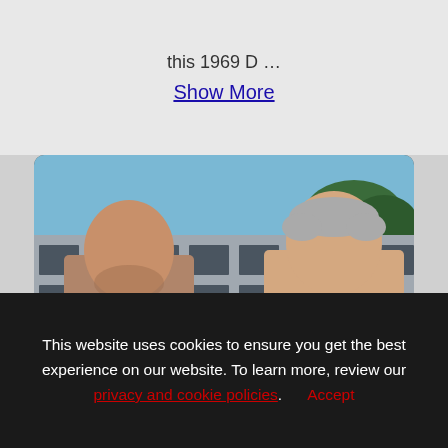this 1969 D …
Show More
[Figure (photo): Two men standing outside in front of a large commercial building with glass windows. Left man is bald wearing a gray tank top. Right man has gray hair wearing a white shirt with a lanyard.]
This website uses cookies to ensure you get the best experience on our website. To learn more, review our privacy and cookie policies. Accept